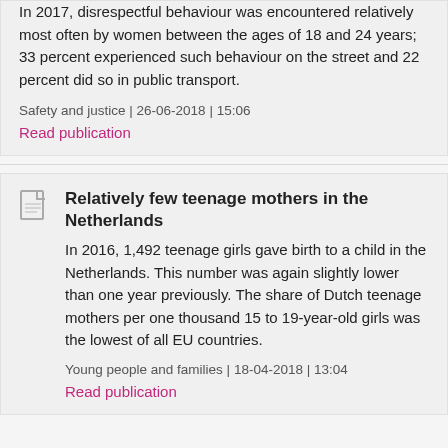In 2017, disrespectful behaviour was encountered relatively most often by women between the ages of 18 and 24 years; 33 percent experienced such behaviour on the street and 22 percent did so in public transport.
Safety and justice | 26-06-2018 | 15:06
Read publication
Relatively few teenage mothers in the Netherlands
In 2016, 1,492 teenage girls gave birth to a child in the Netherlands. This number was again slightly lower than one year previously. The share of Dutch teenage mothers per one thousand 15 to 19-year-old girls was the lowest of all EU countries.
Young people and families | 18-04-2018 | 13:04
Read publication